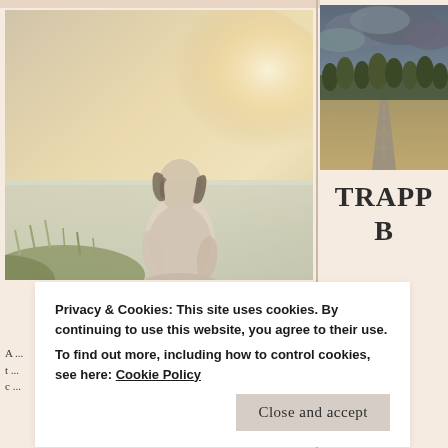[Figure (photo): Woman sitting by a lake at sunset, viewed from behind, with soft golden light and grass in foreground]
DREAMY
A ... t ... c ...
[Figure (photo): Rural road with trees and cloudy sky, landscape field view]
TRAPP... B...
As it goes, mor... through the b... The my anch... y re...
Privacy & Cookies: This site uses cookies. By continuing to use this website, you agree to their use. To find out more, including how to control cookies, see here: Cookie Policy
Close and accept